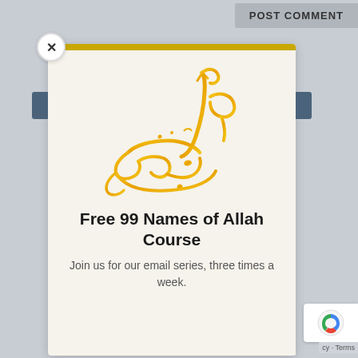POST COMMENT
[Figure (illustration): Arabic calligraphy in gold/yellow color showing 'Al-Rahman' (The Most Gracious), one of the 99 names of Allah]
Free 99 Names of Allah Course
Join us for our email series, three times a week.